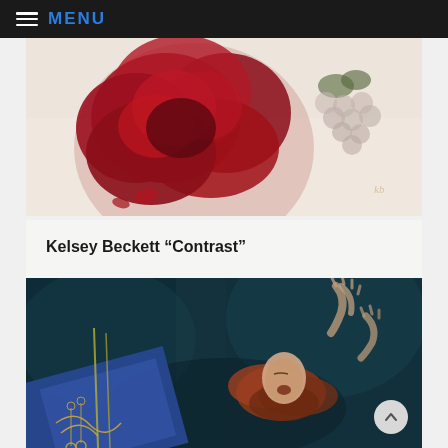MENU
[Figure (illustration): Painting of a large deep red peony flower with scattered petals and greenish grape cluster in background, on a light cream/beige background — artwork by Kelsey Beckett titled Contrast]
Kelsey Beckett “Contrast”
[Figure (photo): Dark teal/dark painting showing a woman with red hair floating or falling, mouth open, with two reaching hands visible above, and blue fabric with gold embroidery in lower left, dramatic dark atmosphere]